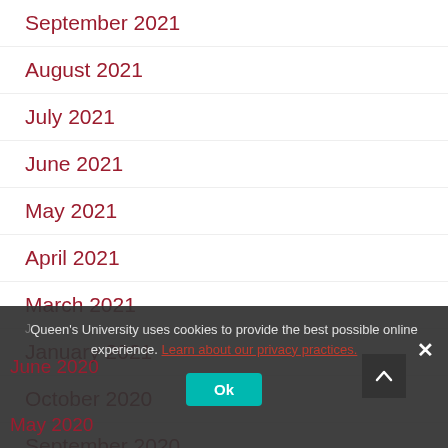September 2021
August 2021
July 2021
June 2021
May 2021
April 2021
March 2021
January 2021
October 2020
September 2020
August 2020
July 2020
June 2020
May 2020
Queen's University uses cookies to provide the best possible online experience. Learn about our privacy practices.
Ok